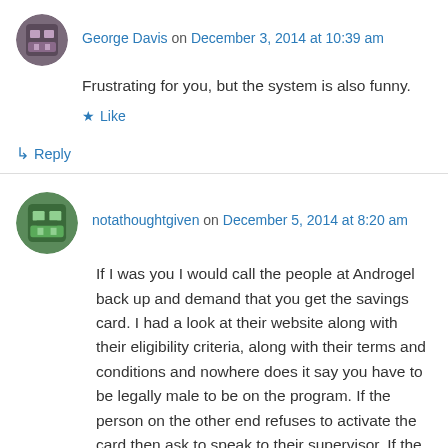George Davis on December 3, 2014 at 10:39 am
Frustrating for you, but the system is also funny.
★ Like
↳ Reply
notathoughtgiven on December 5, 2014 at 8:20 am
If I was you I would call the people at Androgel back up and demand that you get the savings card. I had a look at their website along with their eligibility criteria, along with their terms and conditions and nowhere does it say you have to be legally male to be on the program. If the person on the other end refuses to activate the card then ask to speak to their supervisor. If the